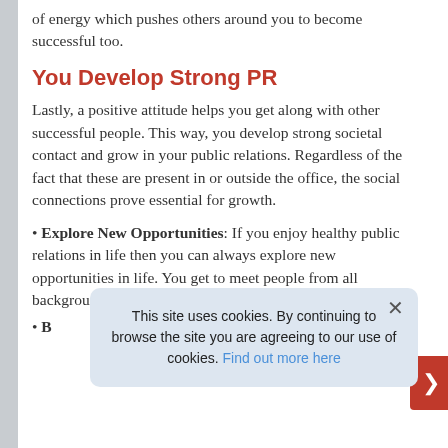of energy which pushes others around you to become successful too.
You Develop Strong PR
Lastly, a positive attitude helps you get along with other successful people. This way, you develop strong societal contact and grow in your public relations. Regardless of the fact that these are present in or outside the office, the social connections prove essential for growth.
Explore New Opportunities: If you enjoy healthy public relations in life then you can always explore new opportunities in life. You get to meet people from all backgrounds. By bridging good relations with the...
B... in...
This site uses cookies. By continuing to browse the site you are agreeing to our use of cookies. Find out more here